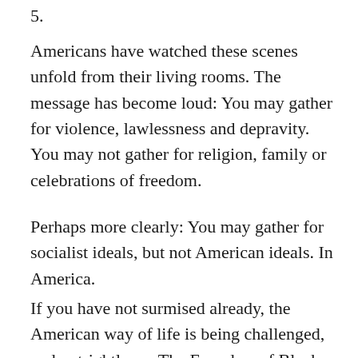5.
Americans have watched these scenes unfold from their living rooms. The message has become loud: You may gather for violence, lawlessness and depravity. You may not gather for religion, family or celebrations of freedom.
Perhaps more clearly: You may gather for socialist ideals, but not American ideals. In America.
If you have not surmised already, the American way of life is being challenged, and outrightly so. The Founders of Black Lives Matter do not even hide the fact that they are “trained Marxists.” Indeed, the